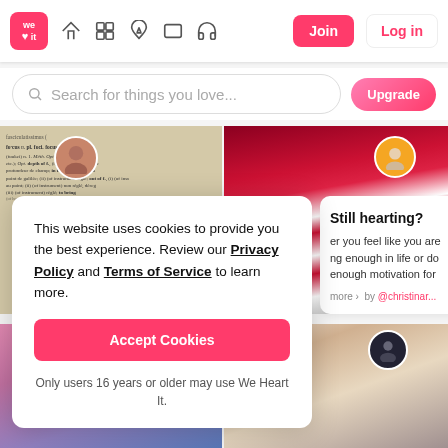[Figure (screenshot): We Heart It navigation bar with logo, icons (home, grid, feather, rectangle, headphones), Join button and Log in button]
[Figure (screenshot): Search bar with placeholder 'Search for things you love...' and an Upgrade button]
[Figure (photo): Dictionary page photo with user avatar circle overlay]
[Figure (photo): Red velvet cake slice close-up photo with orange avatar circle overlay]
This website uses cookies to provide you the best experience. Review our Privacy Policy and Terms of Service to learn more.
Accept Cookies
Only users 16 years or older may use We Heart It.
Still hearting?
er you feel like you are ng enough in life or do enough motivation for
more ›  by @christinar...
[Figure (photo): Pink/purple cloudy sky or fur texture photo]
[Figure (photo): Business meeting scene with avatar overlay and bookshelf in background]